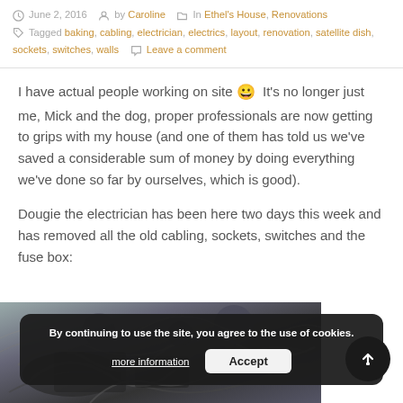June 2, 2016  by Caroline  In Ethel's House, Renovations  Tagged baking, cabling, electrician, electrics, layout, renovation, satellite dish, sockets, switches, walls  Leave a comment
I have actual people working on site 😀  It's no longer just me, Mick and the dog, proper professionals are now getting to grips with my house (and one of them has told us we've saved a considerable sum of money by doing everything we've done so far by ourselves, which is good).
Dougie the electrician has been here two days this week and has removed all the old cabling, sockets, switches and the fuse box:
[Figure (photo): Photo of old electrical cables and wiring removed from the house]
By continuing to use the site, you agree to the use of cookies.
more information   Accept